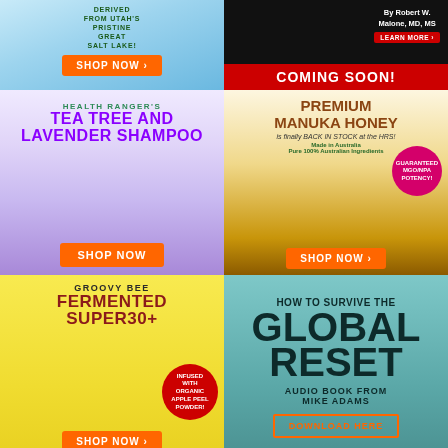[Figure (infographic): Ad for mineral drops product derived from Utah's Pristine Great Salt Lake, with SHOP NOW button on blue watery background]
[Figure (infographic): Ad for a book by Robert W. Malone MD MS on dark background with LEARN MORE button and COMING SOON red banner]
[Figure (infographic): Ad for Health Ranger's Tea Tree and Lavender Shampoo with purple text and lavender flower product image, SHOP NOW button]
[Figure (infographic): Ad for Premium Manuka Honey back in stock at HRS, Made in Australia, Guaranteed MGO/NPA Potency, SHOP NOW button]
[Figure (infographic): Groovy Bee Fermented Super30+ ad on yellow background, Infused with Organic Apple Peel Powder, SHOP NOW button]
[Figure (infographic): How to Survive the Global Reset audio book from Mike Adams on teal background with DOWNLOAD HERE button]
[Figure (infographic): Survival Nutrition ad on dark green background]
[Figure (infographic): BrighteonStore.com Global Reset ad on dark red/purple background]